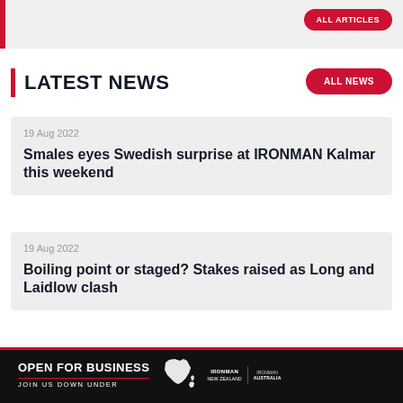LATEST NEWS
19 Aug 2022
Smales eyes Swedish surprise at IRONMAN Kalmar this weekend
19 Aug 2022
Boiling point or staged? Stakes raised as Long and Laidlow clash
[Figure (infographic): Open For Business - Join Us Down Under banner with IRONMAN New Zealand and IRONMAN logos]
OPEN FOR BUSINESS
JOIN US DOWN UNDER